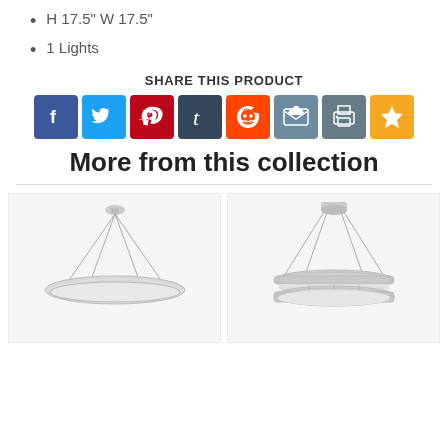H 17.5" W 17.5"
1 Lights
SHARE THIS PRODUCT
[Figure (infographic): Social sharing icons: Facebook, Twitter, Pinterest, Tumblr, Reddit, Email, Print, Favorite]
More from this collection
[Figure (photo): Crystal ring chandelier, flat disc shape, chrome finish, suspended by cables]
[Figure (photo): Crystal ring chandelier, double-tier ring shape, chrome finish, suspended by cables]